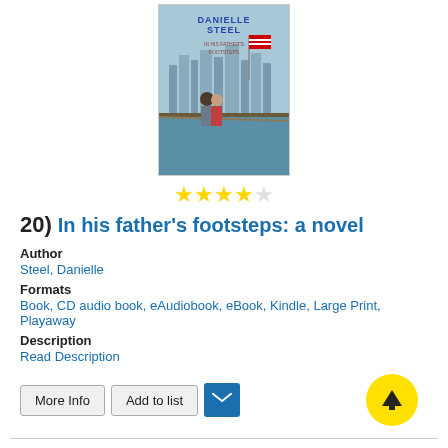[Figure (photo): Book cover of 'In His Father's Footsteps' by Danielle Steel, showing a couple on a ship deck with a city skyline and American flag in the background.]
[Figure (other): 4 out of 5 star rating displayed with yellow star icons]
20)  In his father's footsteps: a novel
Author
Steel, Danielle
Formats
Book, CD audio book, eAudiobook, eBook, Kindle, Large Print, Playaway
Description
Read Description
More Info | Add to list | [mail icon] | [up arrow]
1  2  3  4  5  Next »  [16]